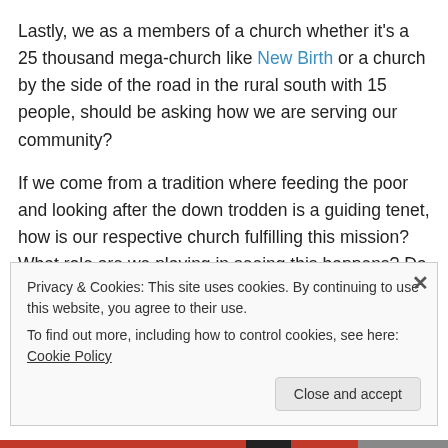Lastly, we as a members of a church whether it's a 25 thousand mega-church like New Birth or a church by the side of the road in the rural south with 15 people, should be asking how we are serving our community?
If we come from a tradition where feeding the poor and looking after the down trodden is a guiding tenet, how is our respective church fulfilling this mission? What role are we playing in seeing this happens? Do we volunteer to take those bold and much-needed steps or are we waiting
Privacy & Cookies: This site uses cookies. By continuing to use this website, you agree to their use.
To find out more, including how to control cookies, see here: Cookie Policy